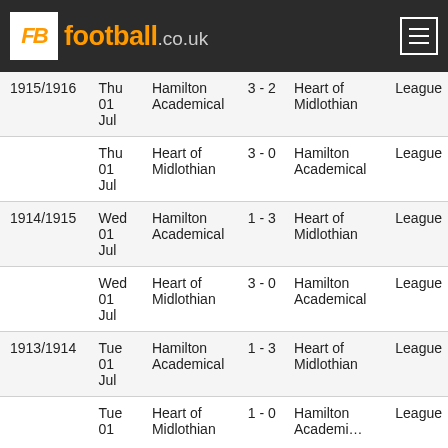FB football.co.uk
| Season | Day | Home | Score | Away | Competition |
| --- | --- | --- | --- | --- | --- |
| 1915/1916 | Thu 01 Jul | Hamilton Academical | 3 - 2 | Heart of Midlothian | League |
|  | Thu 01 Jul | Heart of Midlothian | 3 - 0 | Hamilton Academical | League |
| 1914/1915 | Wed 01 Jul | Hamilton Academical | 1 - 3 | Heart of Midlothian | League |
|  | Wed 01 Jul | Heart of Midlothian | 3 - 0 | Hamilton Academical | League |
| 1913/1914 | Tue 01 Jul | Hamilton Academical | 1 - 3 | Heart of Midlothian | League |
|  | Tue 01 Jul | Heart of Midlothian | 1 - 0 | Hamilton Academical | League |